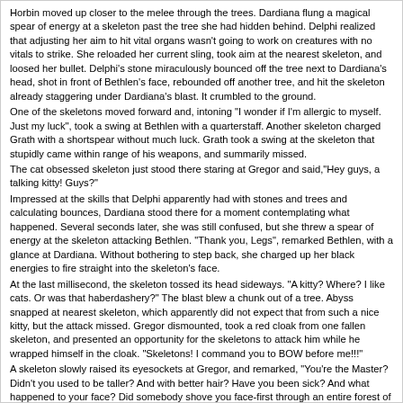Horbin moved up closer to the melee through the trees. Dardiana flung a magical spear of energy at a skeleton past the tree she had hidden behind. Delphi realized that adjusting her aim to hit vital organs wasn't going to work on creatures with no vitals to strike. She reloaded her current sling, took aim at the nearest skeleton, and loosed her bullet. Delphi's stone miraculously bounced off the tree next to Dardiana's head, shot in front of Bethlen's face, rebounded off another tree, and hit the skeleton already staggering under Dardiana's blast. It crumbled to the ground.
One of the skeletons moved forward and, intoning "I wonder if I'm allergic to myself. Just my luck", took a swing at Bethlen with a quarterstaff. Another skeleton charged Grath with a shortspear without much luck. Grath took a swing at the skeleton that stupidly came within range of his weapons, and summarily missed.
The cat obsessed skeleton just stood there staring at Gregor and said,"Hey guys, a talking kitty! Guys?"
Impressed at the skills that Delphi apparently had with stones and trees and calculating bounces, Dardiana stood there for a moment contemplating what happened. Several seconds later, she was still confused, but she threw a spear of energy at the skeleton attacking Bethlen. "Thank you, Legs", remarked Bethlen, with a glance at Dardiana. Without bothering to step back, she charged up her black energies to fire straight into the skeleton's face.
At the last millisecond, the skeleton tossed its head sideways. "A kitty? Where? I like cats. Or was that haberdashery?" The blast blew a chunk out of a tree. Abyss snapped at nearest skeleton, which apparently did not expect that from such a nice kitty, but the attack missed. Gregor dismounted, took a red cloak from one fallen skeleton, and presented an opportunity for the skeletons to attack him while he wrapped himself in the cloak. "Skeletons! I command you to BOW before me!!!"
A skeleton slowly raised its eyesockets at Gregor, and remarked, "You're the Master? Didn't you used to be taller? And with better hair? Have you been sick? And what happened to your face? Did somebody shove you face-first through an entire forest of ugly trees? That makes me feel... completely unconcerned."
"I am your master's deputy in charge of these woods! You see, I wear this red cloak that confirms my status! So now take back your remark and do as commanded!" While quite surprized that the skeleton wasted the opportunity to strike Gregor while he was picking up the cloak, Gregor clearly did not want to waste his opportunity of engaging in such an unusual conversation.